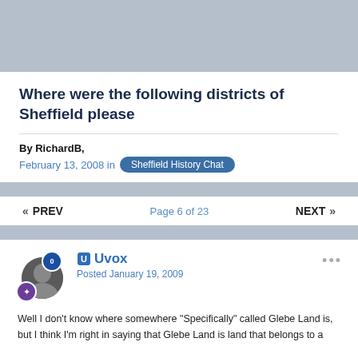[Figure (other): Gray banner image at top of page]
Where were the following districts of Sheffield please
By RichardB, February 13, 2008 in Sheffield History Chat
« PREV   Page 6 of 23   NEXT »
Uvox
Posted January 19, 2009
Well I don't know where somewhere "Specifically" called Glebe Land is, but I think I'm right in saying that Glebe Land is land that belongs to a